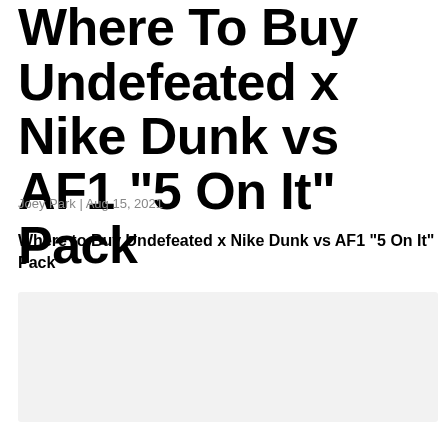Where To Buy Undefeated x Nike Dunk vs AF1 “5 On It” Pack
Joey Park | Aug 15, 2021
Where to Buy Undefeated x Nike Dunk vs AF1 "5 On It" Pack
[Figure (photo): Light gray image placeholder rectangle]